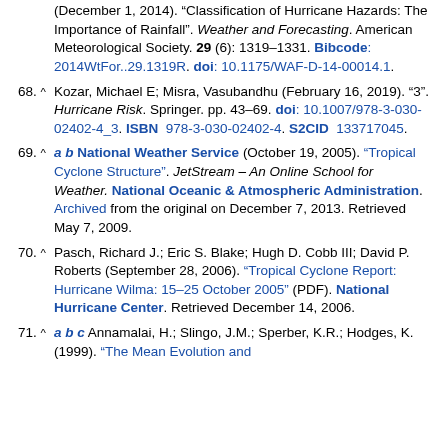(December 1, 2014). "Classification of Hurricane Hazards: The Importance of Rainfall". Weather and Forecasting. American Meteorological Society. 29 (6): 1319–1331. Bibcode: 2014WtFor..29.1319R. doi: 10.1175/WAF-D-14-00014.1.
68. ^ Kozar, Michael E; Misra, Vasubandhu (February 16, 2019). "3". Hurricane Risk. Springer. pp. 43–69. doi: 10.1007/978-3-030-02402-4_3. ISBN 978-3-030-02402-4. S2CID 133717045.
69. ^ a b National Weather Service (October 19, 2005). "Tropical Cyclone Structure". JetStream – An Online School for Weather. National Oceanic & Atmospheric Administration. Archived from the original on December 7, 2013. Retrieved May 7, 2009.
70. ^ Pasch, Richard J.; Eric S. Blake; Hugh D. Cobb III; David P. Roberts (September 28, 2006). "Tropical Cyclone Report: Hurricane Wilma: 15–25 October 2005" (PDF). National Hurricane Center. Retrieved December 14, 2006.
71. ^ a b c Annamalai, H.; Slingo, J.M.; Sperber, K.R.; Hodges, K. (1999). "The Mean Evolution and...